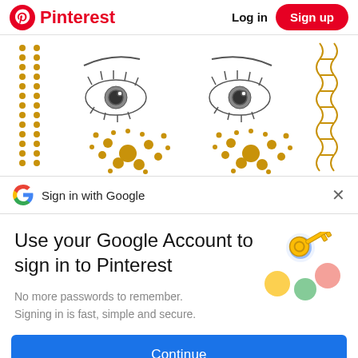Pinterest  Log in  Sign up
[Figure (illustration): Decorative face art illustration with golden/amber dot patterns and chain designs on either side of drawn eyes with detailed lashes and eyebrows]
Sign in with Google
Use your Google Account to sign in to Pinterest
[Figure (illustration): Google sign-in key illustration with colorful circles (blue, yellow, green, red/pink) and a golden key icon]
No more passwords to remember.
Signing in is fast, simple and secure.
Continue